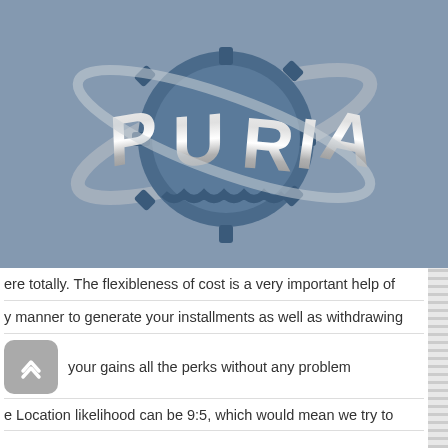[Figure (logo): PURIA logo: 3D chrome letters spelling PURIA on a blue gear, surrounded by silver swoosh rings, on a steel-blue background]
...ere totally. The flexibleness of cost is a very important help of
...y manner to generate your installments as well as withdrawing
...your gains all the perks without any problem
...e Location likelihood can be 9:5, which would mean we try to